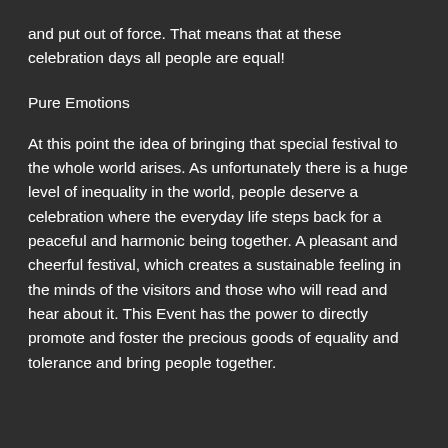and put out of force. That means that at these celebration days all people are equal!
Pure Emotions
At this point the idea of bringing that special festival to the whole world arises. As unfortunately there is a huge level of inequality in the world, people deserve a celebration where the everyday life steps back for a peaceful and harmonic being together. A pleasant and cheerful festival, which creates a sustainable feeling in the minds of the visitors and those who will read and hear about it. This Event has the power to directly promote and foster the precious goods of equality and tolerance and bring people together.